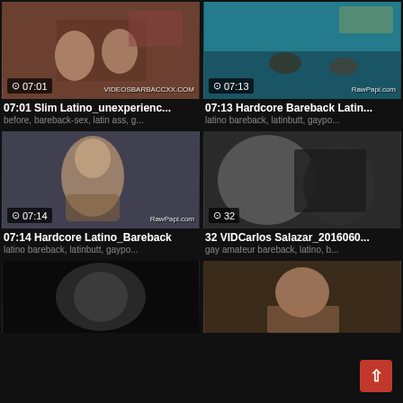[Figure (screenshot): Video thumbnail 1: 07:01 duration, adults]
07:01 Slim Latino_unexperienc...
before, bareback-sex, latin ass, g...
[Figure (screenshot): Video thumbnail 2: 07:13 duration, pool scene, RawPapi.com watermark]
07:13 Hardcore Bareback Latin...
latino bareback, latinbutt, gaypo...
[Figure (screenshot): Video thumbnail 3: 07:14 duration, RawPapi.com watermark]
07:14 Hardcore Latino_Bareback
latino bareback, latinbutt, gaypo...
[Figure (screenshot): Video thumbnail 4: 32 seconds duration]
32 VIDCarlos Salazar_2016060...
gay amateur bareback, latino, b...
[Figure (screenshot): Video thumbnail 5: partial, dark]
[Figure (screenshot): Video thumbnail 6: partial, person visible]